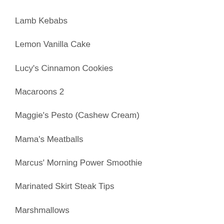Lamb Kebabs
Lemon Vanilla Cake
Lucy's Cinnamon Cookies
Macaroons 2
Maggie's Pesto (Cashew Cream)
Mama's Meatballs
Marcus' Morning Power Smoothie
Marinated Skirt Steak Tips
Marshmallows
Mexican Chicken Tortillas
Minestrone Soup
Mini Hamburgers
Mom's Applesauce Scones
Mom's Raspberry-Applesauce Cake
Mom's Vegetarian Stock
Nilou's Guacamole
Nilou's Peach Compote/Sauce
Nilou's Sausage Strips